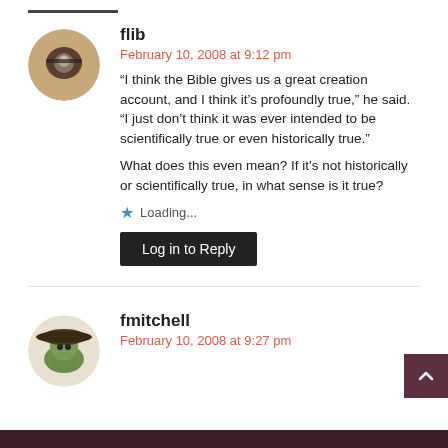flib
February 10, 2008 at 9:12 pm
“I think the Bible gives us a great creation account, and I think it’s profoundly true,” he said. “I just don’t think it was ever intended to be scientifically true or even historically true.”
What does this even mean? If it's not historically or scientifically true, in what sense is it true?
Loading...
Log in to Reply
fmitchell
February 10, 2008 at 9:27 pm